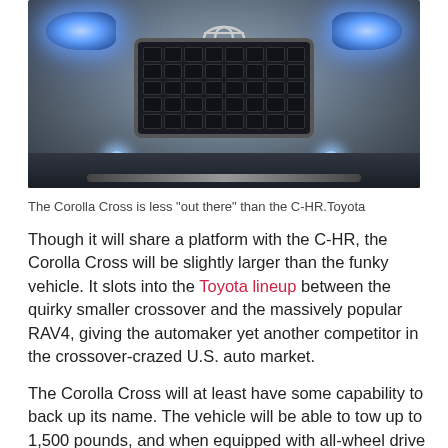[Figure (photo): Front view of a Toyota Corolla Cross SUV, showing the large trapezoidal grille, blue LED headlights, fog lights, and dark bumper. The vehicle is shown on a gray gradient background.]
The Corolla Cross is less "out there" than the C-HR.Toyota
Though it will share a platform with the C-HR, the Corolla Cross will be slightly larger than the funky vehicle. It slots into the Toyota lineup between the quirky smaller crossover and the massively popular RAV4, giving the automaker yet another competitor in the crossover-crazed U.S. auto market.
The Corolla Cross will at least have some capability to back up its name. The vehicle will be able to tow up to 1,500 pounds, and when equipped with all-wheel drive it will offer a torque vectoring system.